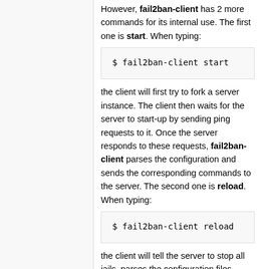However, fail2ban-client has 2 more commands for its internal use. The first one is start. When typing:
$ fail2ban-client start
the client will first try to fork a server instance. The client then waits for the server to start-up by sending ping requests to it. Once the server responds to these requests, fail2ban-client parses the configuration and sends the corresponding commands to the server. The second one is reload. When typing:
$ fail2ban-client reload
the client will tell the server to stop all jails, parses the configuration files again and send the commands to the server. This is useful when a new configuration must be loaded without shutting down the server. This is also very useful when debugging the server. It is possible to start the server with fail2ban-